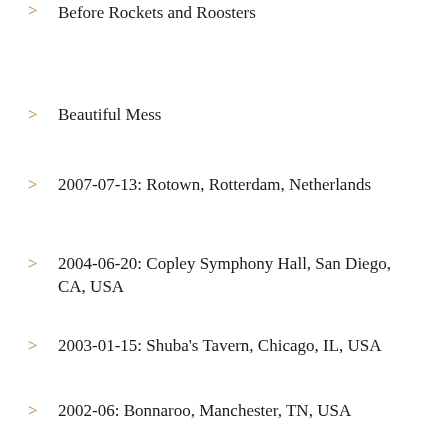> Before Rockets and Roosters
> Beautiful Mess
> 2007-07-13: Rotown, Rotterdam, Netherlands
> 2004-06-20: Copley Symphony Hall, San Diego, CA, USA
> 2003-01-15: Shuba's Tavern, Chicago, IL, USA
> 2002-06: Bonnaroo, Manchester, TN, USA
> ■1
> ■■